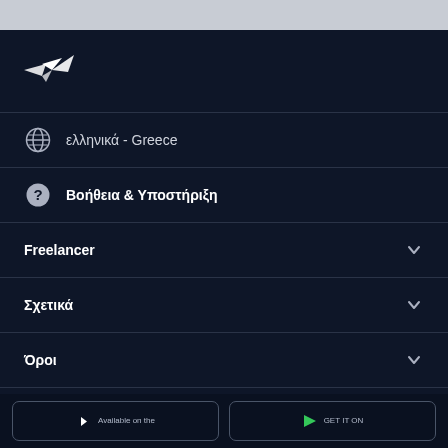[Figure (logo): Freelancer hummingbird logo in white on dark navy background]
ελληνικά - Greece
Βοήθεια & Υποστήριξη
Freelancer
Σχετικά
Όροι
Available on the
GET IT ON